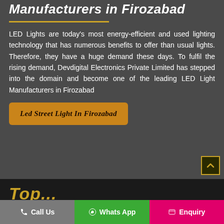Manufacturers in Firozabad
LED Lights are today's most energy-efficient and used lighting technology that has numerous benefits to offer than usual lights. Therefore, they have a huge demand these days. To fulfil the rising demand, Devdigital Electronics Private Limited has stepped into the domain and become one of the leading LED Light Manufacturers in Firozabad
Led Street Light In Firozabad
Top... (partial footer text in yellow)
Call Us   Whats App   Enquiry